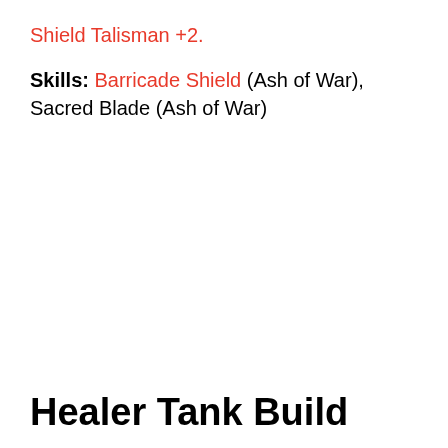Shield Talisman +2.
Skills: Barricade Shield (Ash of War), Sacred Blade (Ash of War)
Healer Tank Build